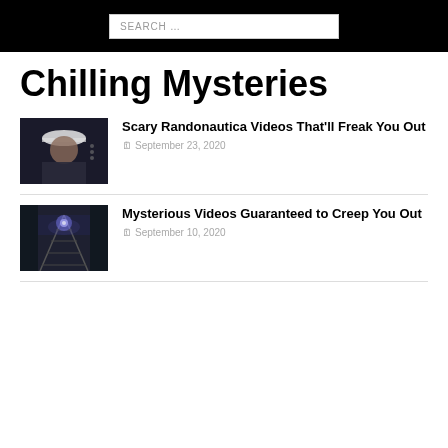SEARCH …
Chilling Mysteries
[Figure (photo): Dark portrait photo of a person wearing a white cap, shown from the side in low light]
Scary Randonautica Videos That'll Freak You Out
September 23, 2020
[Figure (photo): Night photo of train tracks with a glowing blue/purple light in the distance, surrounded by dark trees]
Mysterious Videos Guaranteed to Creep You Out
September 10, 2020